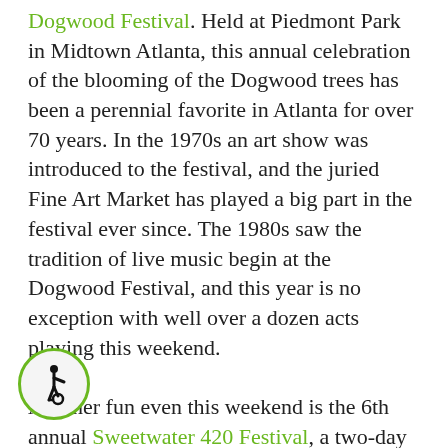Dogwood Festival. Held at Piedmont Park in Midtown Atlanta, this annual celebration of the blooming of the Dogwood trees has been a perennial favorite in Atlanta for over 70 years. In the 1970s an art show was introduced to the festival, and the juried Fine Art Market has played a big part in the festival ever since. The 1980s saw the tradition of live music begin at the Dogwood Festival, and this year is no exception with well over a dozen acts playing this weekend.

Another fun even this weekend is the 6th annual Sweetwater 420 Festival, a two-day music and arts festival. It's free to attend and enjoy live music and activities, and $5 gets you a wrist band that allows you to buy all the wine and Sweetwater beer you can "responsibly enjoy." A portion of the proceeds go to to the Candler Park neighborhood which hosts the event. A big part of the event is "Planet 420", which
[Figure (infographic): Circular accessibility icon with green border showing wheelchair user symbol in black on light background]